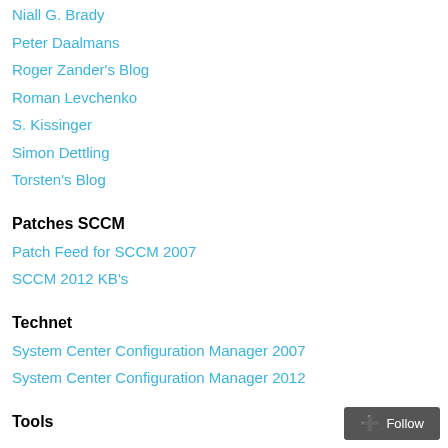Niall G. Brady
Peter Daalmans
Roger Zander's Blog
Roman Levchenko
S. Kissinger
Simon Dettling
Torsten's Blog
Patches SCCM
Patch Feed for SCCM 2007
SCCM 2012 KB's
Technet
System Center Configuration Manager 2007
System Center Configuration Manager 2012
Tools